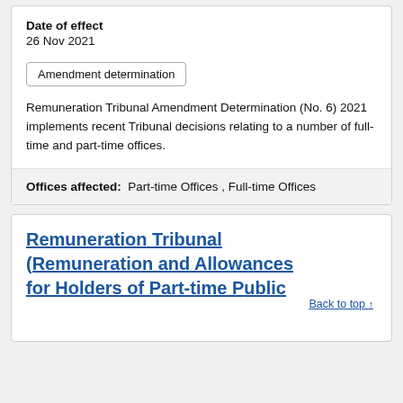Date of effect
26 Nov 2021
Amendment determination
Remuneration Tribunal Amendment Determination (No. 6) 2021 implements recent Tribunal decisions relating to a number of full-time and part-time offices.
Offices affected:  Part-time Offices , Full-time Offices
Remuneration Tribunal (Remuneration and Allowances for Holders of Part-time Public
Back to top ↑